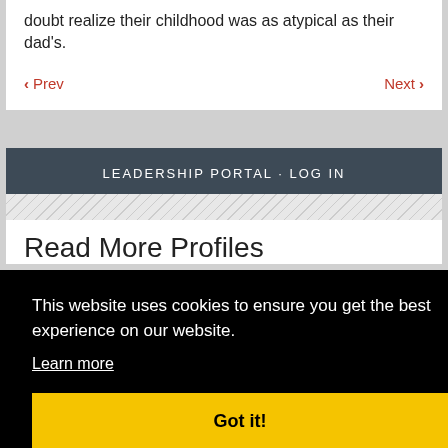doubt realize their childhood was as atypical as their dad's.
< Prev    Next >
LEADERSHIP PORTAL · LOG IN
Read More Profiles
This website uses cookies to ensure you get the best experience on our website.
Learn more
Got it!